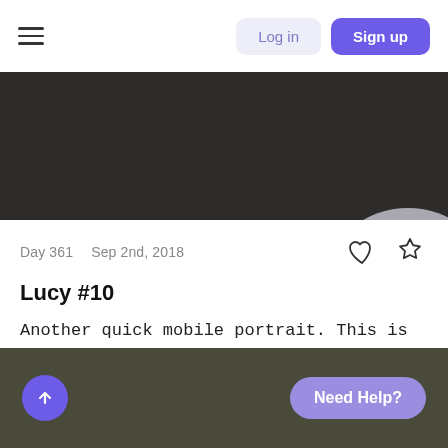Log in  Sign up
[Figure (photo): Dark gray/brown banner image area at top of page]
Day 361  Sep 2nd, 2018
Lucy #10
Another quick mobile portrait. This is the last portrait of Lucy in my project. Just a couple of days left in the project and I'm done. Thank...
2 comments
Need Help?